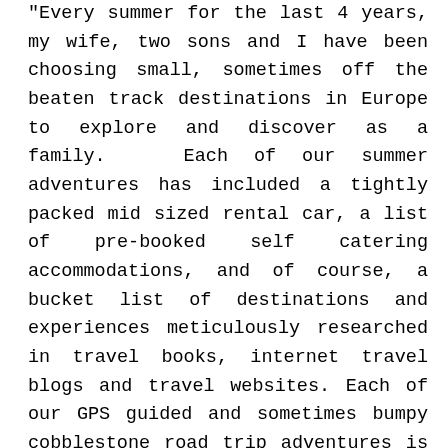Every summer for the last 4 years, my wife, two sons and I have been choosing small, sometimes off the beaten track destinations in Europe to explore and discover as a family.  Each of our summer adventures has included a tightly packed mid sized rental car, a list of pre-booked self catering accommodations, and of course, a bucket list of destinations and experiences meticulously researched in travel books, internet travel blogs and travel websites. Each of our GPS guided and sometimes bumpy cobblestone road trip adventures is usually about four weeks long.  Being a Canadian family from the prairies, each of our over seas excursions has exposed us to multiple world renowned historical sites and given us a taste for many of the diverse European cultures.  This past summer's trip was no different. Our destination of choice was an area in the Alpine region of southern Germany.  During the logistical planning phase prior to our trip, we